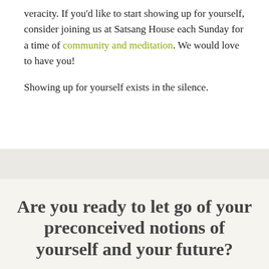veracity. If you'd like to start showing up for yourself, consider joining us at Satsang House each Sunday for a time of community and meditation. We would love to have you!
Showing up for yourself exists in the silence.
Are you ready to let go of your preconceived notions of yourself and your future?
ARE YOU READY TO EMPOWER YOURSELF TO TAKE